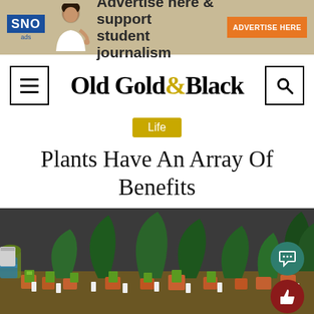[Figure (other): SNO ads banner with person pointing and text 'Advertise here & support student journalism' with orange 'ADVERTISE HERE' button]
Old Gold&Black
Life
Plants Have An Array Of Benefits
[Figure (photo): Photo of a plant nursery or market display with various tropical plants in terracotta pots, seed packets, and plant labels on a table]